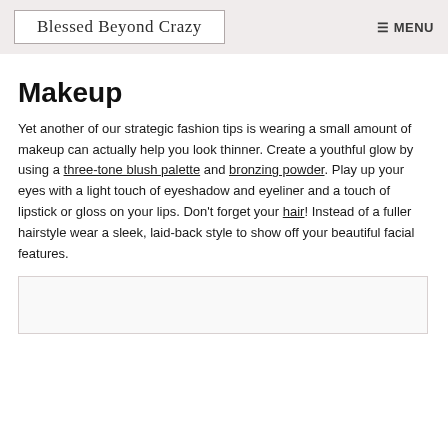Blessed Beyond Crazy  ☰ MENU
Makeup
Yet another of our strategic fashion tips is wearing a small amount of makeup can actually help you look thinner. Create a youthful glow by using a three-tone blush palette and bronzing powder. Play up your eyes with a light touch of eyeshadow and eyeliner and a touch of lipstick or gloss on your lips. Don't forget your hair! Instead of a fuller hairstyle wear a sleek, laid-back style to show off your beautiful facial features.
[Figure (photo): Placeholder image area at the bottom of the page]